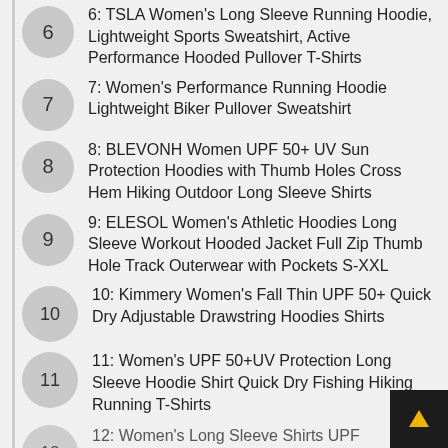6: TSLA Women's Long Sleeve Running Hoodie, Lightweight Sports Sweatshirt, Active Performance Hooded Pullover T-Shirts
7: Women's Performance Running Hoodie Lightweight Biker Pullover Sweatshirt
8: BLEVONH Women UPF 50+ UV Sun Protection Hoodies with Thumb Holes Cross Hem Hiking Outdoor Long Sleeve Shirts
9: ELESOL Women's Athletic Hoodies Long Sleeve Workout Hooded Jacket Full Zip Thumb Hole Track Outerwear with Pockets S-XXL
10: Kimmery Women's Fall Thin UPF 50+ Quick Dry Adjustable Drawstring Hoodies Shirts
11: Women's UPF 50+UV Protection Long Sleeve Hoodie Shirt Quick Dry Fishing Hiking Running T-Shirts
12: Women's Long Sleeve Shirts UPF...